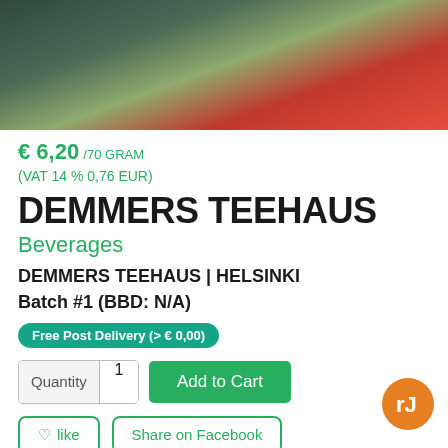[Figure (photo): Product photo showing tea packaging with green and red background colors]
€ 6,20 /70 GRAM
(VAT 14 % 0,76 EUR)
DEMMERS TEEHAUS
Beverages
DEMMERS TEEHAUS | HELSINKI
Batch #1 (BBD: N/A)
Free Post Delivery (> € 0,00)
Quantity  1   Add to Cart
♡ like   Share on Facebook
PRODUCT INFORMATION
Potkukelkkailijan juomassa vihreän intialaisen